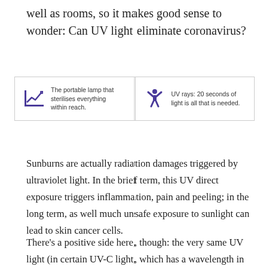well as rooms, so it makes good sense to wonder: Can UV light eliminate coronavirus?
[Figure (infographic): Two-panel infographic box. Left panel: purple chart icon with upward arrow, caption 'The portable lamp that sterilises everything within reach.' Right panel: purple person icon with arms raised, caption 'UV rays: 20 seconds of light is all that is needed.']
Sunburns are actually radiation damages triggered by ultraviolet light. In the brief term, this UV direct exposure triggers inflammation, pain and peeling; in the long term, as well much unsafe exposure to sunlight can lead to skin cancer cells.
There’s a positive side here, though: the very same UV light (in certain UV-C light, which has a wavelength in between 200 and 280 nanometers, while visible lights smallest